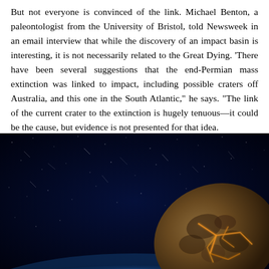But not everyone is convinced of the link. Michael Benton, a paleontologist from the University of Bristol, told Newsweek in an email interview that while the discovery of an impact basin is interesting, it is not necessarily related to the Great Dying. 'There have been several suggestions that the end-Permian mass extinction was linked to impact, including possible craters off Australia, and this one in the South Atlantic,' he says. 'The link of the current crater to the extinction is hugely tenuous—it could be the cause, but evidence is not presented for that idea.
[Figure (photo): An artistic rendering of an asteroid or meteorite approaching Earth from space. The rocky, cratered asteroid is visible in the lower right portion of the image, with glowing cracks/veins on its surface. The background shows a dark, star-filled space with streaks of light suggesting motion. Earth's blue atmosphere is faintly visible at the bottom.]